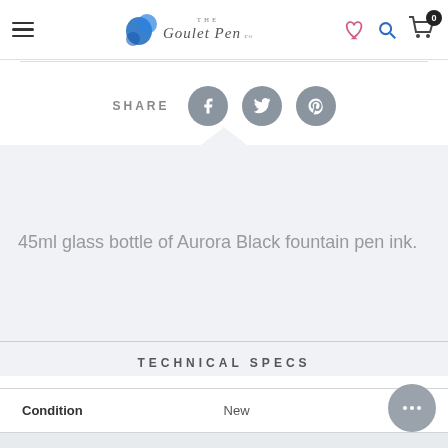The Goulet Pen Co. — navigation header with hamburger menu, logo, heart/search/cart icons
SHARE
45ml glass bottle of Aurora Black fountain pen ink.
TECHNICAL SPECS
|  |  |
| --- | --- |
| Condition | New |
| Brand | Aurora |